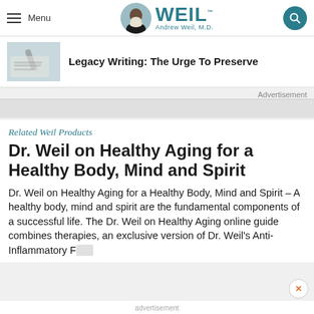Menu | WEIL™ Andrew Weil, M.D.
[Figure (screenshot): Thumbnail image of hands writing with a pen on paper]
Legacy Writing: The Urge To Preserve
Advertisement
Related Weil Products
Dr. Weil on Healthy Aging for a Healthy Body, Mind and Spirit
Dr. Weil on Healthy Aging for a Healthy Body, Mind and Spirit – A healthy body, mind and spirit are the fundamental components of a successful life. The Dr. Weil on Healthy Aging online guide combines therapies, an exclusive version of Dr. Weil's Anti-Inflammatory F...
advertisement